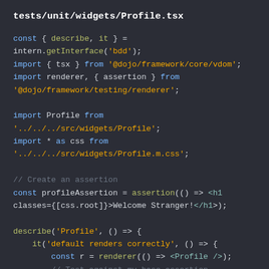tests/unit/widgets/Profile.tsx
const { describe, it } =
intern.getInterface('bdd');
import { tsx } from '@dojo/framework/core/vdom';
import renderer, { assertion } from
'@dojo/framework/testing/renderer';

import Profile from
'../../../src/widgets/Profile';
import * as css from
'../../../src/widgets/Profile.m.css';

// Create an assertion
const profileAssertion = assertion(() => <h1
classes={[css.root]}>Welcome Stranger!</h1>);

describe('Profile', () => {
    it('default renders correctly', () => {
        const r = renderer(() => <Profile />);
        // Test against my base assertion